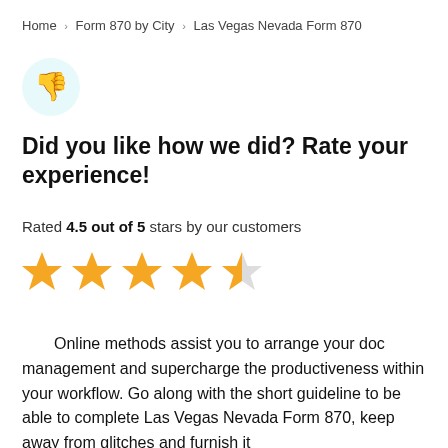Home › Form 870 by City › Las Vegas Nevada Form 870
[Figure (illustration): Thumbs down emoji icon inside a light teal/cyan circle]
Did you like how we did? Rate your experience!
Rated 4.5 out of 5 stars by our customers
[Figure (other): 4.5 out of 5 stars rating: four full gold stars and one half gold star]
Online methods assist you to arrange your doc management and supercharge the productiveness within your workflow. Go along with the short guideline to be able to complete Las Vegas Nevada Form 870, keep away from glitches and furnish it